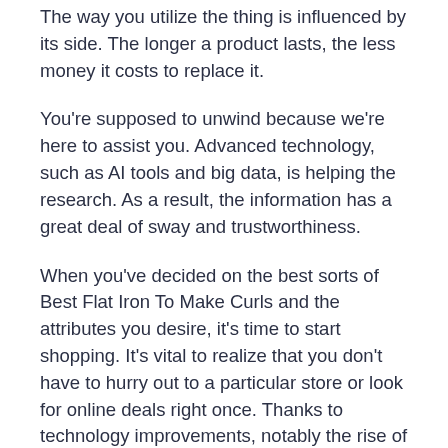The way you utilize the thing is influenced by its side. The longer a product lasts, the less money it costs to replace it.
You're supposed to unwind because we're here to assist you. Advanced technology, such as AI tools and big data, is helping the research. As a result, the information has a great deal of sway and trustworthiness.
When you've decided on the best sorts of Best Flat Iron To Make Curls and the attributes you desire, it's time to start shopping. It's vital to realize that you don't have to hurry out to a particular store or look for online deals right once. Thanks to technology improvements, notably the rise of selling sites, you may be able to find your friend fast.
We hope you had a fantastic buying experience! Try to keep an eye on our site frequently to ensure the most up-to-date listings to Best Flat Iron To Make